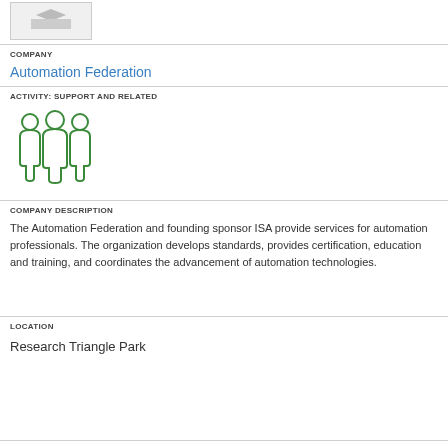[Figure (logo): Company logo placeholder image in a light gray bordered box]
COMPANY
Automation Federation
ACTIVITY: SUPPORT AND RELATED
[Figure (illustration): Green icon of three people/group silhouettes representing a team or support group]
COMPANY DESCRIPTION
The Automation Federation and founding sponsor ISA provide services for automation professionals. The organization develops standards, provides certification, education and training, and coordinates the advancement of automation technologies.
LOCATION
Research Triangle Park